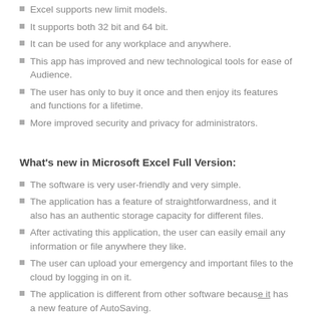Excel supports new limit models.
It supports both 32 bit and 64 bit.
It can be used for any workplace and anywhere.
This app has improved and new technological tools for ease of Audience.
The user has only to buy it once and then enjoy its features and functions for a lifetime.
More improved security and privacy for administrators.
What's new in Microsoft Excel Full Version:
The software is very user-friendly and very simple.
The application has a feature of straightforwardness, and it also has an authentic storage capacity for different files.
After activating this application, the user can easily email any information or file anywhere they like.
The user can upload your emergency and important files to the cloud by logging in on it.
The application is different from other software because it has a new feature of AutoSaving.
The activation key guarantees a lifetime service of Office